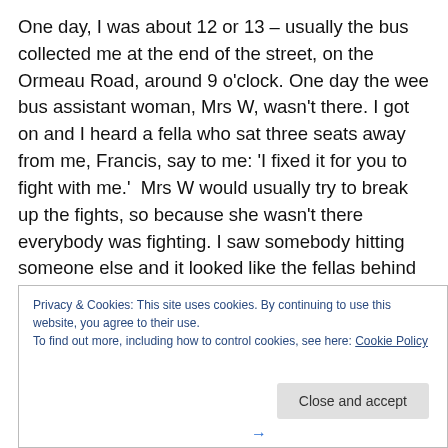One day, I was about 12 or 13 – usually the bus collected me at the end of the street, on the Ormeau Road, around 9 o'clock. One day the wee bus assistant woman, Mrs W, wasn't there. I got on and I heard a fella who sat three seats away from me, Francis, say to me: 'I fixed it for you to fight with me.'  Mrs W would usually try to break up the fights, so because she wasn't there everybody was fighting. I saw somebody hitting someone else and it looked like the fellas behind Francis was waltzing. The guy's fist missed the fella's ear and hit Francis on the mouth, knocked him flying.
Privacy & Cookies: This site uses cookies. By continuing to use this website, you agree to their use.
To find out more, including how to control cookies, see here: Cookie Policy